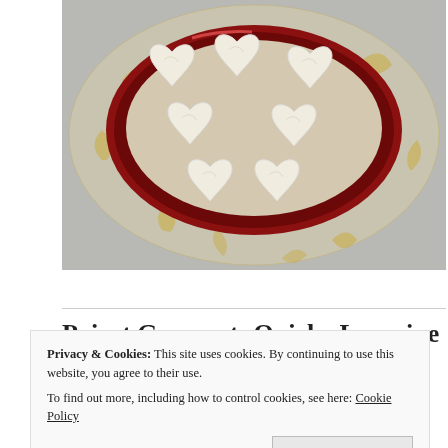[Figure (photo): Photo of heart-shaped white cream or marzipan pieces arranged on a decorative red and gold rimmed plate/bowl, viewed from above.]
Poirot Gourmet: Quiche Lorraine with “Le Sneak Belgique”
Privacy & Cookies: This site uses cookies. By continuing to use this website, you agree to their use. To find out more, including how to control cookies, see here: Cookie Policy
Close and accept
made with coriander, orange peel, and black pepper. Did